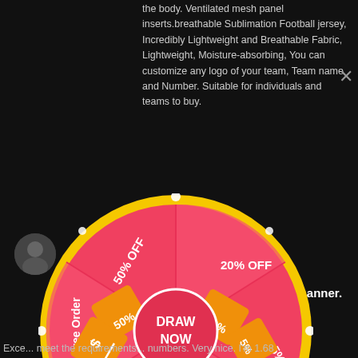the body. Ventilated mesh panel inserts.breathable Sublimation Football jersey, Incredibly Lightweight and Breathable Fabric, Lightweight, Moisture-absorbing, You can customize any logo of your team, Team name and Number. Suitable for individuals and teams to buy.
REBECCA / F
[Figure (infographic): Spin-the-wheel prize wheel with 6 segments showing discounts: 50% OFF, 20% OFF, 5% OFF, 10% OFF, 30% OFF, Free Order. Center button reads DRAW NOW. Wheel is red/pink with yellow border and glowing lights.]
imely manner.
r designed ny choices ally like my
rder looks and the
Exce... meet the requirements... numbers. Very nice. I'm 1.68